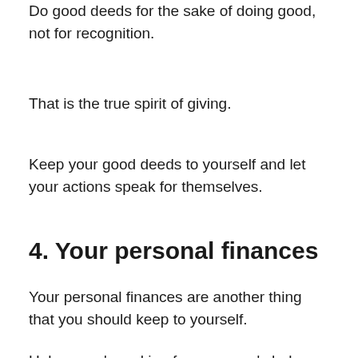Do good deeds for the sake of doing good, not for recognition.
That is the true spirit of giving.
Keep your good deeds to yourself and let your actions speak for themselves.
4. Your personal finances
Your personal finances are another thing that you should keep to yourself.
Unless you're asking for someone's help, there's no need to tell anyone how much money